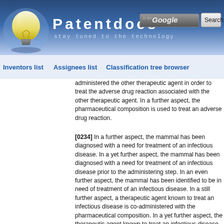[Figure (logo): Patentdocs website header with lightbulb logo, site name 'Patentdocs', tagline 'stay tuned to the technology', Google search box, and Search button]
Inventors list   Assignees list   Classification tree browser
administered the other therapeutic agent in order to treat the adverse drug reaction associated with the other therapeutic agent. In a further aspect, the pharmaceutical composition is used to treat an adverse drug reaction.
[0234] In a further aspect, the mammal has been diagnosed with a need for treatment of an infectious disease. In a yet further aspect, the mammal has been diagnosed with a need for treatment of an infectious disease prior to the administering step. In an even further aspect, the mammal has been identified to be in need of treatment of an infectious disease. In a still further aspect, a therapeutic agent known to treat an infectious disease is co-administered with the pharmaceutical composition. In a yet further aspect, the therapeutic agent known to treat an infectious disease that is co-administered with the pharmaceutical composition is isoniazid, isoniazid in combination with rifampin, rifampicin, or flucloxacilline.